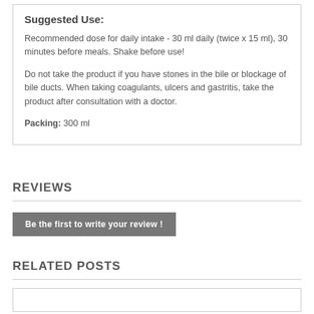Suggested Use:
Recommended dose for daily intake - 30 ml daily (twice x 15 ml), 30 minutes before meals. Shake before use!
Do not take the product if you have stones in the bile or blockage of bile ducts. When taking coagulants, ulcers and gastritis, take the product after consultation with a doctor.
Packing: 300 ml
REVIEWS
Be the first to write your review !
RELATED POSTS